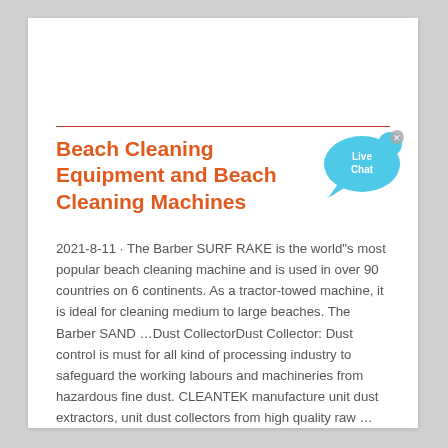Beach Cleaning Equipment and Beach Cleaning Machines
[Figure (illustration): Live Chat speech bubble icon in blue with 'Live Chat' text and an X close button]
2021-8-11 · The Barber SURF RAKE is the world"s most popular beach cleaning machine and is used in over 90 countries on 6 continents. As a tractor-towed machine, it is ideal for cleaning medium to large beaches. The Barber SAND …Dust CollectorDust Collector: Dust control is must for all kind of processing industry to safeguard the working labours and machineries from hazardous fine dust. CLEANTEK manufacture unit dust extractors, unit dust collectors from high quality raw …